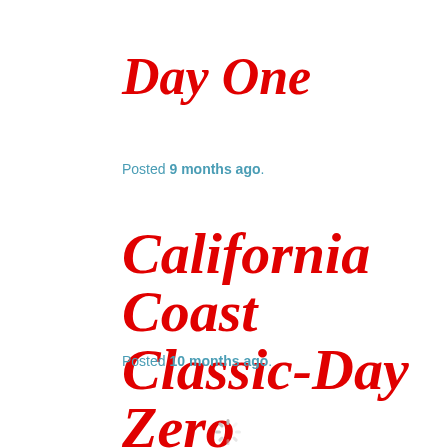Day One
Posted 9 months ago.
California Coast Classic-Day Zero
Posted 10 months ago.
[Figure (other): Loading spinner icon (circular dashed spinner)]
Website Powered by WordPress.com.